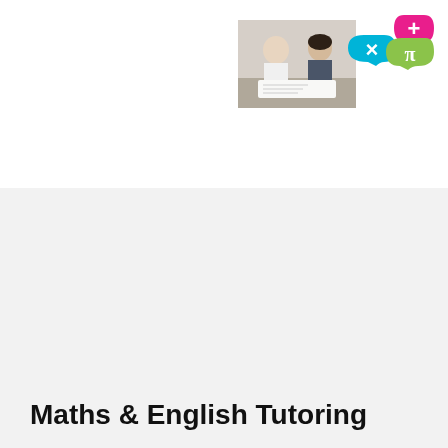[Figure (photo): Small photo of a student and tutor sitting at a table working together]
[Figure (logo): Math tutoring logo with pink plus sign speech bubble, blue multiply speech bubble, and green pi speech bubble]
Maths & English Tutoring
[Figure (photo): Large photo of two children and a female tutor with glasses sitting at a table, tutoring session in progress, orange background accent]